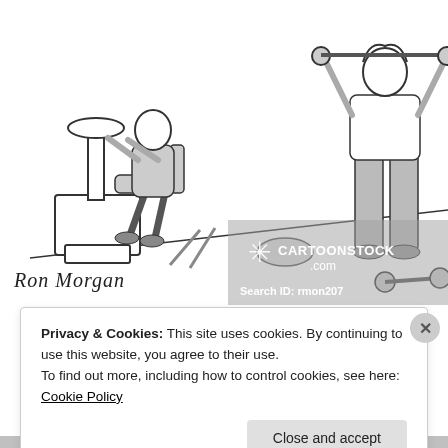[Figure (illustration): Cartoon illustration (Ron Morgan) showing a gym scene: a person seated on exercise equipment on the left, and a standing person lifting dumbbells on the right. A dumbbell is on the floor at lower right. CartoonStock.com watermark and Search ID: rmon207 overlay the lower right of the image.]
Privacy & Cookies: This site uses cookies. By continuing to use this website, you agree to their use.
To find out more, including how to control cookies, see here: Cookie Policy
Close and accept